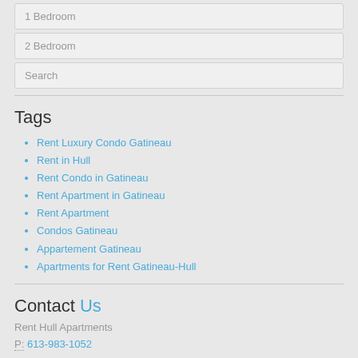1 Bedroom
2 Bedroom
Search
Tags
Rent Luxury Condo Gatineau
Rent in Hull
Rent Condo in Gatineau
Rent Apartment in Gatineau
Rent Apartment
Condos Gatineau
Appartement Gatineau
Apartments for Rent Gatineau-Hull
Contact Us
Rent Hull Apartments
P: 613-983-1052